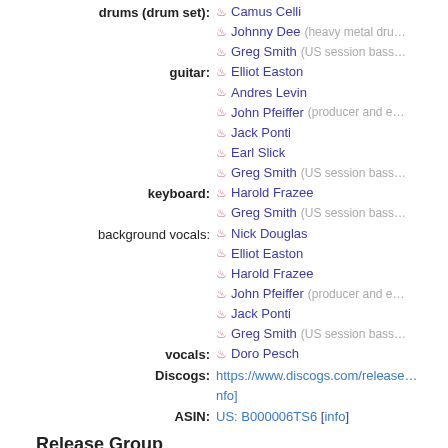drums (drum set): Camus Celli, Johnny Dee (heavy metal dru...), Greg Smith (US session bass...)
guitar: Elliot Easton, Andres Levin, John Pfeiffer (producer and e...), Jack Ponti, Earl Slick, Greg Smith (US session bass...)
keyboard: Harold Frazee, Greg Smith (US session bass...)
background vocals: Nick Douglas, Elliot Easton, Harold Frazee, John Pfeiffer (producer and e...), Jack Ponti, Greg Smith (US session bass...)
vocals: Doro Pesch
Discogs: https://www.discogs.com/release.../nfo]
ASIN: US: B000006TS6 [info]
Release Group
Discogs: https://www.discogs.com/master.../o]
Wikidata: Q6723678 [info]
Donate  Wiki  Forums  Chat (IRC)  Bug Tracker  Blog  Twitter  Use beta
Brought to you by MetaBrainz Foundation and our spo...